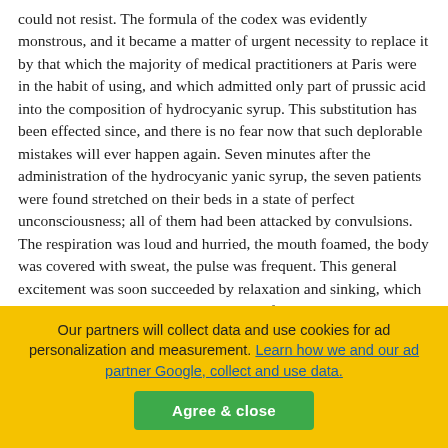could not resist. The formula of the codex was evidently monstrous, and it became a matter of urgent necessity to replace it by that which the majority of medical practitioners at Paris were in the habit of using, and which admitted only part of prussic acid into the composition of hydrocyanic syrup. This substitution has been effected since, and there is no fear now that such deplorable mistakes will ever happen again. Seven minutes after the administration of the hydrocyanic yanic syrup, the seven patients were found stretched on their beds in a state of perfect unconsciousness; all of them had been attacked by convulsions. The respiration was loud and hurried, the mouth foamed, the body was covered with sweat, the pulse was frequent. This general excitement was soon succeeded by relaxation and sinking, which increased rapidly, though gradually, and finally terminated in death. The respiratory movements decreased in frequency and extent; the pulse became every minute slower and weaker; the sweat and the extremities became cold, and In some of the patients, the face and the death supervened. teguments of the skull were strongly ingested, whilst in others they were very pale; the
Our partners will collect data and use cookies for ad personalization and measurement. Learn how we and our ad partner Google, collect and use data.
Agree & close